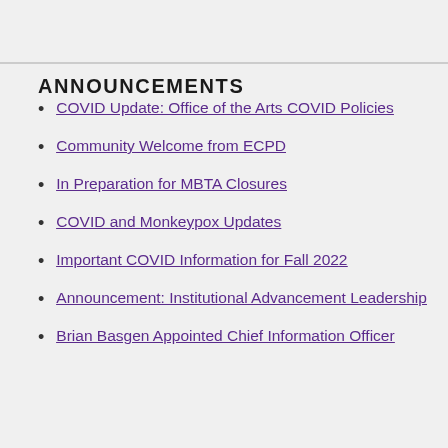ANNOUNCEMENTS
COVID Update: Office of the Arts COVID Policies
Community Welcome from ECPD
In Preparation for MBTA Closures
COVID and Monkeypox Updates
Important COVID Information for Fall 2022
Announcement: Institutional Advancement Leadership
Brian Basgen Appointed Chief Information Officer